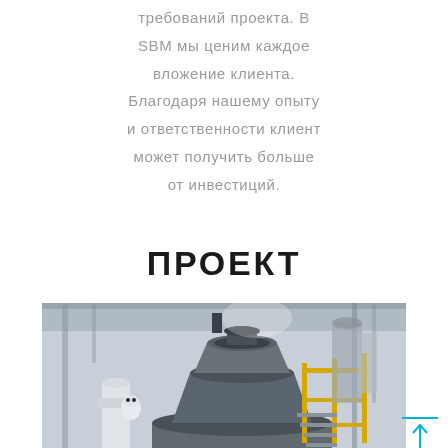требований проекта. В SBM мы ценим каждое вложение клиента. Благодаря нашему опыту и ответственности клиент может получить больше от инвестиций.
ПРОЕКТ
[Figure (photo): Industrial machinery photo showing a large cone crusher or mill inside a factory building with yellow metal railings and pipes.]